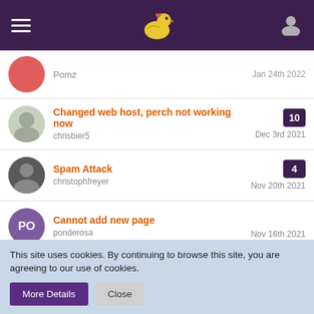Navigation header with hamburger menu, duck logo, and user icon
Pomz — Jan 24th 2022
Changed web host, perch not working now — chrisbier5 — Dec 3rd 2021 — 10 replies
Spam Attack — christophfreyer — Nov 20th 2021 — 4 replies
Cannot add new page — ponderosa — Nov 16th 2021
MailChimp App Dashboard Errors — ex-jedi — Nov 10th 2021 — 7 replies
Upgrading a site from Perch 1.x to 3.2 — larryfura — Sep 9th 2021 — 2 replies
This site uses cookies. By continuing to browse this site, you are agreeing to our use of cookies.
More Details  Close